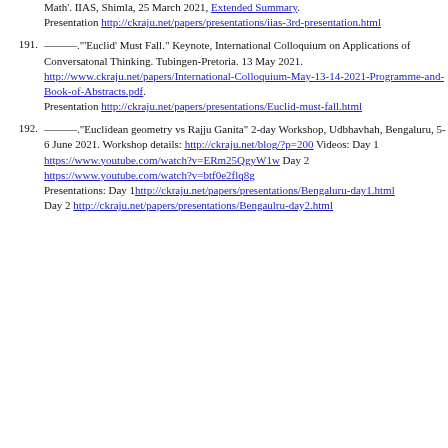Math'. IIAS, Shimla, 25 March 2021, Extended Summary. Presentation http://ckraju.net/papers/presentations/iias-3rd-presentation.html
191. ———."'Euclid' Must Fall." Keynote, International Colloquium on Applications of Conversatonal Thinking. Tubingen-Pretoria. 13 May 2021. http://www.ckraju.net/papers/International-Colloquium-May-13-14-2021-Programme-and-Book-of-Abstracts.pdf. Presentation http://ckraju.net/papers/presentations/Euclid-must-fall.html
192. ———."Euclidean geometry vs Rajju Ganita" 2-day Workshop, Udbhavhah, Bengaluru, 5-6 June 2021. Workshop details: http://ckraju.net/blog/?p=200 Videos: Day 1 https://www.youtube.com/watch?v=ERm25QgyW1w Day 2 https://www.youtube.com/watch?v=btf0e2flq8g Presentations: Day 1 http://ckraju.net/papers/presentations/Bengaluru-day1.html Day 2 http://ckraju.net/papers/presentations/Bengaulru-day2.html